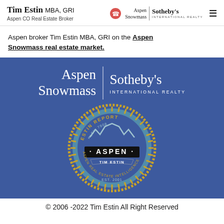Tim Estin MBA, GRI — Aspen CO Real Estate Broker — Aspen Snowmass Sotheby's International Realty
Aspen broker Tim Estin MBA, GRI on the Aspen Snowmass real estate market.
[Figure (logo): Aspen Snowmass Sotheby's International Realty logo in white on blue background, with the Estin Report Aspen badge/seal below]
© 2006 -2022 Tim Estin All Right Reserved